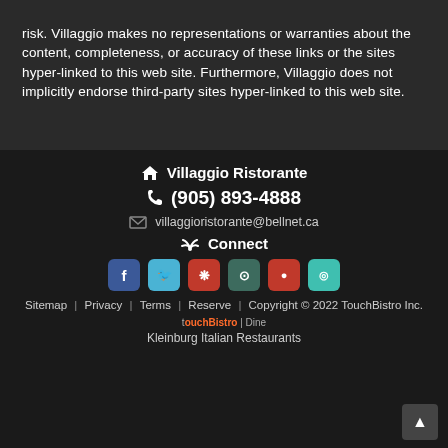risk. Villaggio makes no representations or warranties about the content, completeness, or accuracy of these links or the sites hyper-linked to this web site. Furthermore, Villaggio does not implicitly endorse third-party sites hyper-linked to this web site.
Villaggio Ristorante
(905) 893-4888
villaggioristorante@bellnet.ca
Connect
Sitemap | Privacy | Terms | Reserve | Copyright © 2022 TouchBistro Inc.
touchBistro | Dine
Kleinburg Italian Restaurants